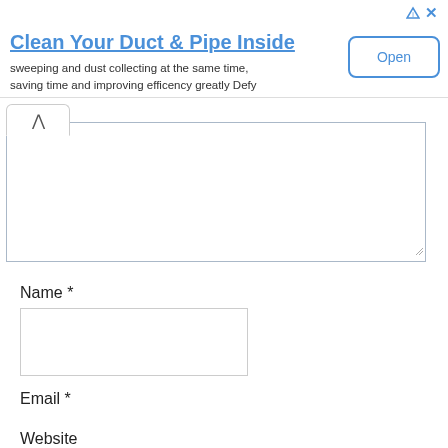[Figure (screenshot): Advertisement banner: 'Clean Your Duct & Pipe Inside' with Open button and ad icons]
[Figure (screenshot): Textarea input with collapse/expand tab (up caret) at top left]
Name *
[Figure (screenshot): Name text input field (empty)]
Email *
[Figure (screenshot): Email text input field (empty)]
Website